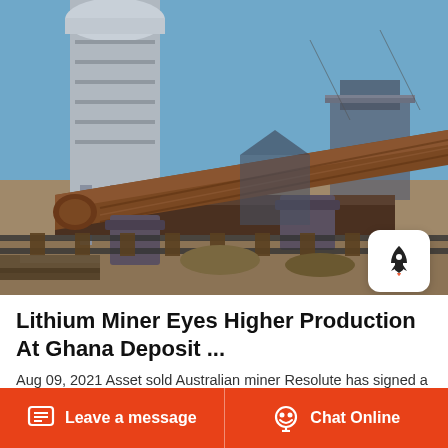[Figure (photo): Industrial mining facility with large cylindrical drum/kiln on a rail track, a tall white silo structure on the left, blue sky background, and various industrial equipment and structures in the background.]
Lithium Miner Eyes Higher Production At Ghana Deposit ...
Aug 09, 2021 Asset sold Australian miner Resolute has signed a contract to sell its Bibiani gold mine in Ghana to Asante Gold